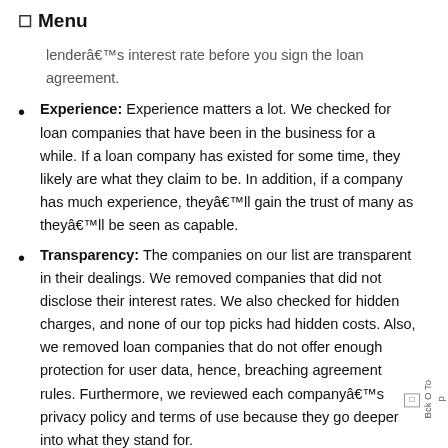☰ Menu
lenderâ€™s interest rate before you sign the loan agreement.
Experience: Experience matters a lot. We checked for loan companies that have been in the business for a while. If a loan company has existed for some time, they likely are what they claim to be. In addition, if a company has much experience, theyâ€™ll gain the trust of many as theyâ€™ll be seen as capable.
Transparency: The companies on our list are transparent in their dealings. We removed companies that did not disclose their interest rates. We also checked for hidden charges, and none of our top picks had hidden costs. Also, we removed loan companies that do not offer enough protection for user data, hence, breaching agreement rules. Furthermore, we reviewed each companyâ€™s privacy policy and terms of use because they go deeper into what they stand for.